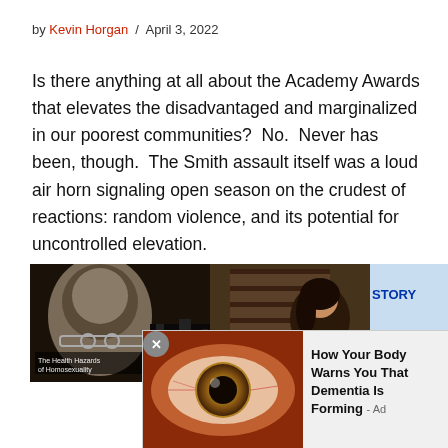by Kevin Horgan / April 3, 2022
Is there anything at all about the Academy Awards that elevates the disadvantaged and marginalized in our poorest communities?  No.  Never has been, though.  The Smith assault itself was a loud air horn signaling open season on the crudest of reactions: random violence, and its potential for uncontrolled elevation.
[Figure (screenshot): Video player showing three panels: a bald man with glasses on left, a woman with dark hair in center, and a blue story banner on right]
[Figure (photo): Close-up photo of a human eye with text overlay advertisement reading 'How Your Body Warns You That Dementia Is Forming - Ad']